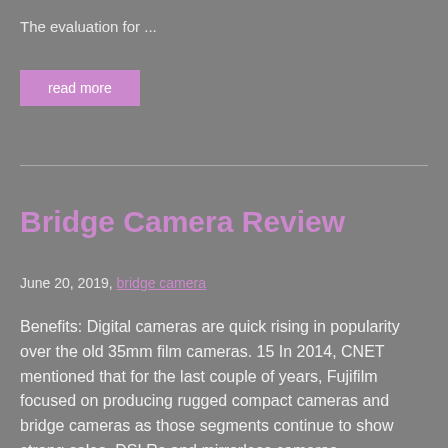The evaluation for ...
read more
Bridge Camera Review
June 20, 2019, bridge camera
Benefits: Digital cameras are quick rising in popularity over the old 35mm film cameras. 15 In 2014, CNET mentioned that for the last couple of years, Fujifilm focused on producing rugged compact cameras and bridge cameras as those segments continue to show strong sales. DSLRs and mirrorless cameras subsequently require changing lenses to reach the same versatility as superzoom bridge cameras.